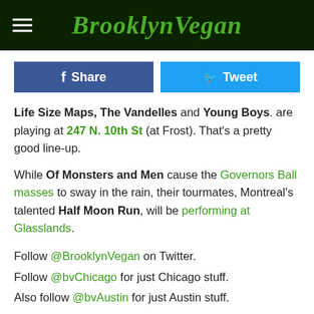BrooklynVegan
Share   Tweet
Life Size Maps, The Vandelles and Young Boys. are playing at 247 N. 10th St (at Frost). That's a pretty good line-up.
While Of Monsters and Men cause the Governors Ball masses to sway in the rain, their tourmates, Montreal's talented Half Moon Run, will be performing at Glasslands.
Follow @BrooklynVegan on Twitter.
Follow @bvChicago for just Chicago stuff.
Also follow @bvAustin for just Austin stuff.
Be our friend on Facebook too, and BV Austin's friend on